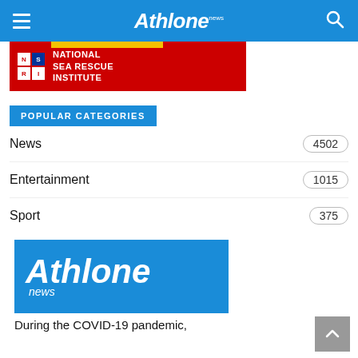Athlone news
[Figure (other): Red National Sea Rescue Institute banner advertisement]
POPULAR CATEGORIES
News 4502
Entertainment 1015
Sport 375
[Figure (logo): Athlone News logo on blue background]
During the COVID-19 pandemic,